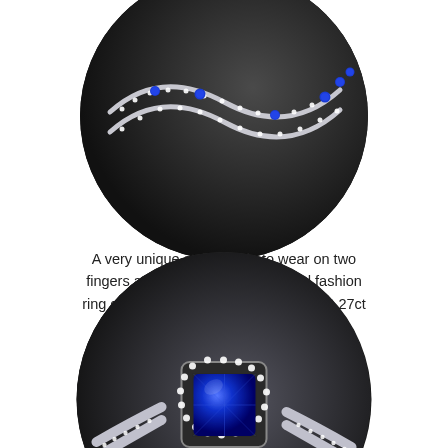[Figure (photo): Close-up circular photo of a two-finger fashion ring in 18K white gold with blue sapphires and diamond-set bands intertwined in a wave design, photographed on a dark background.]
A very unique style, made to wear on two fingers at once, this 18K white gold fashion ring contains 6 bright blue Sapphires (0.27ct tw) and 0.50ct tw of round brilliant cut Diamonds.
[Figure (photo): Close-up circular photo of an 18K white gold ring featuring a large round blue sapphire center stone surrounded by a halo of round brilliant cut diamonds, with a split diamond-set shank, on a dark background.]